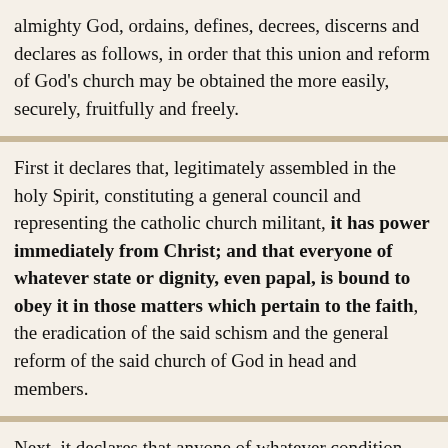almighty God, ordains, defines, decrees, discerns and declares as follows, in order that this union and reform of God's church may be obtained the more easily, securely, fruitfully and freely.
First it declares that, legitimately assembled in the holy Spirit, constituting a general council and representing the catholic church militant, it has power immediately from Christ; and that everyone of whatever state or dignity, even papal, is bound to obey it in those matters which pertain to the faith, the eradication of the said schism and the general reform of the said church of God in head and members.
Next, it declares that anyone of whatever condition, state or dignity, even papal, who contumaciously refuses to obey the past or future mandates, statutes, ordinances or precepts of this sacred council or of any other legitimately assembled general council, regarding the aforesaid things or matters pertaining to them, shall be subjected to well-deserved penance, unless he repents,